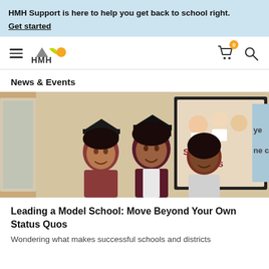HMH Support is here to help you get back to school right. Get started
[Figure (logo): HMH logo with hamburger menu, cart icon with badge showing 0, and search icon]
News & Events
[Figure (photo): Three young women smiling, two wearing maroon graduation caps and gowns, in front of a framed poster. Partially visible text on right edge reads 'ye' and 'ne c'.]
Leading a Model School: Move Beyond Your Own Status Quos
Wondering what makes successful schools and districts